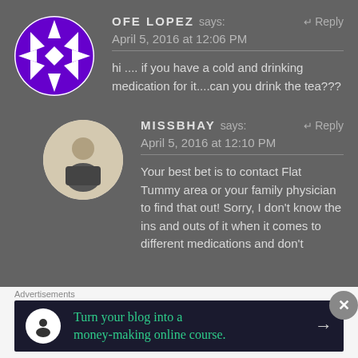OFE LOPEZ says: April 5, 2016 at 12:06 PM
hi .... if you have a cold and drinking medication for it....can you drink the tea???
MISSBHAY says: April 5, 2016 at 12:10 PM
Your best bet is to contact Flat Tummy area or your family physician to find that out! Sorry, I don't know the ins and outs of it when it comes to different medications and don't
Advertisements
Turn your blog into a money-making online course.